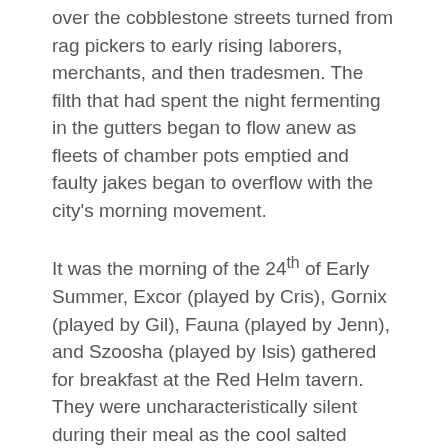over the cobblestone streets turned from rag pickers to early rising laborers, merchants, and then tradesmen. The filth that had spent the night fermenting in the gutters began to flow anew as fleets of chamber pots emptied and faulty jakes began to overflow with the city's morning movement.
It was the morning of the 24th of Early Summer, Excor (played by Cris), Gornix (played by Gil), Fauna (played by Jenn), and Szoosha (played by Isis) gathered for breakfast at the Red Helm tavern. They were uncharacteristically silent during their meal as the cool salted morning air was heavier than usual. After finishing breakfast, they had uniformly decided to leave all of the items that they had stripped from Haxat's corpse in the Cabal Room upstairs for safekeeping. In preparation of the mandatory hearing that afternoon, they agreed to meet back up in front of the Red Helm on the eve of the hour of their appointment.